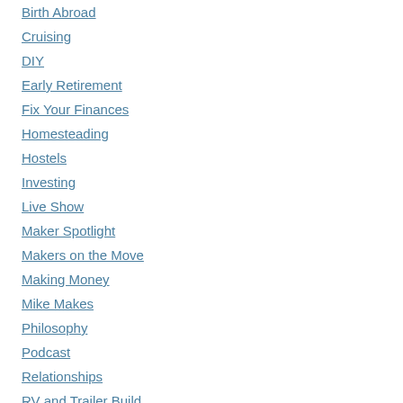Birth Abroad
Cruising
DIY
Early Retirement
Fix Your Finances
Homesteading
Hostels
Investing
Live Show
Maker Spotlight
Makers on the Move
Making Money
Mike Makes
Philosophy
Podcast
Relationships
RV and Trailer Build
Saving Money
Sponsored Posts